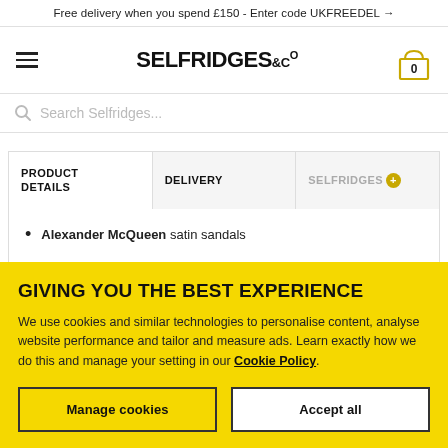Free delivery when you spend £150 - Enter code UKFREEDEL →
[Figure (logo): Selfridges & Co logo with hamburger menu and cart icon]
Search Selfridges...
| PRODUCT DETAILS | DELIVERY | SELFRIDGES+ |
| --- | --- | --- |
Alexander McQueen satin sandals
GIVING YOU THE BEST EXPERIENCE
We use cookies and similar technologies to personalise content, analyse website performance and tailor and measure ads. Learn exactly how we do this and manage your setting in our Cookie Policy.
Manage cookies | Accept all